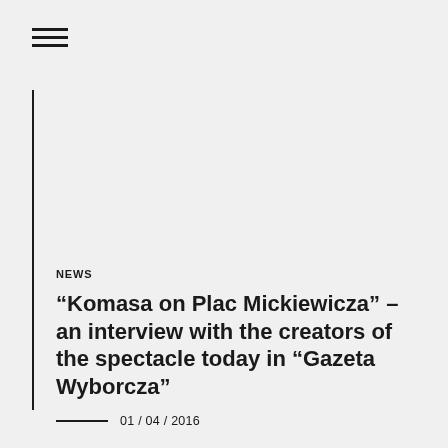NEWS
“Komasa on Plac Mickiewicza” – an interview with the creators of the spectacle today in “Gazeta Wyborcza”
01 / 04 / 2016